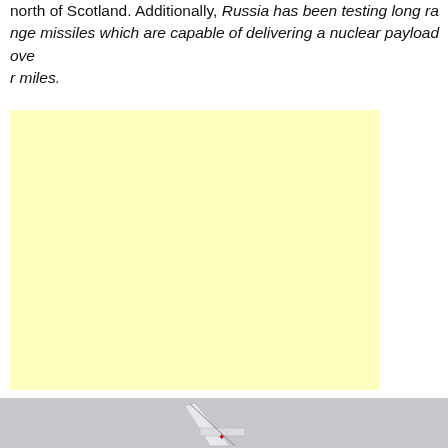north of Scotland. Additionally, Russia has been testing long range missiles which are capable of delivering a nuclear payload over miles.
[Figure (other): Yellow/cream coloured rectangular box, likely an advertisement placeholder or image placeholder.]
[Figure (photo): Partial photo showing the nose or tail section of an aircraft against a grey sky, with a small red star marking visible.]